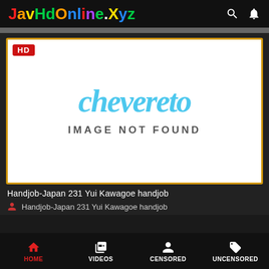JavHdOnline.Xyz
[Figure (screenshot): Chevereto image not found placeholder — white background with 'chevereto' in blue italic script font and 'IMAGE NOT FOUND' in dark gray caps below. Red HD badge in top-left corner. Yellow-orange left border on the card.]
Handjob-Japan 231 Yui Kawagoe handjob
Handjob-Japan 231 Yui Kawagoe handjob
HOME  VIDEOS  CENSORED  UNCENSORED